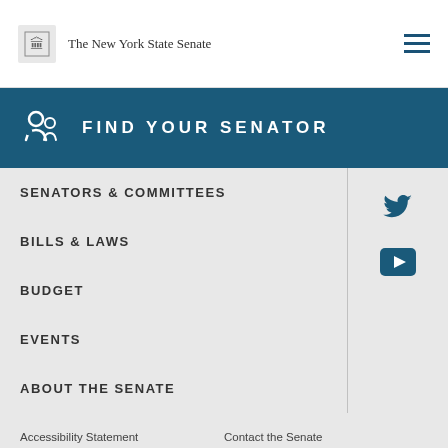The New York State Senate
FIND YOUR SENATOR
SENATORS & COMMITTEES
BILLS & LAWS
BUDGET
EVENTS
ABOUT THE SENATE
Accessibility Statement
Contact the Senate
Creative Commons
Developers
Home Rule Form
Policies & Waivers